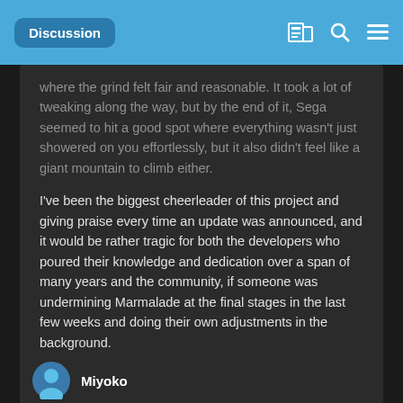Discussion
where the grind felt fair and reasonable. It took a lot of tweaking along the way, but by the end of it, Sega seemed to hit a good spot where everything wasn't just showered on you effortlessly, but it also didn't feel like a giant mountain to climb either.
I've been the biggest cheerleader of this project and giving praise every time an update was announced, and it would be rather tragic for both the developers who poured their knowledge and dedication over a span of many years and the community, if someone was undermining Marmalade at the final stages in the last few weeks and doing their own adjustments in the background.
+ Quote
Miyoko